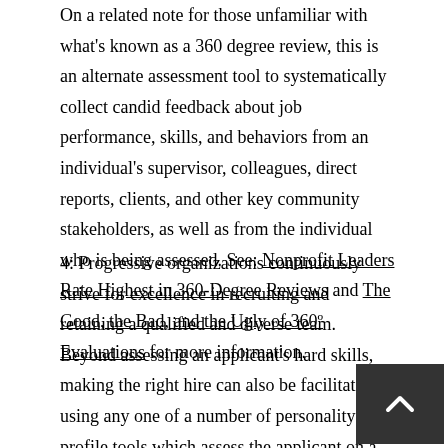On a related note for those unfamiliar with what's known as a 360 degree review, this is an alternate assessment tool to systematically collect candid feedback about job performance, skills, and behaviors from an individual's supervisor, colleagues, direct reports, clients, and other key community stakeholders, as well as from the individual who is being assessed. See: Nonprofit Leaders Rate Highest in 360-Degree Reviews and The Good, the Bad, and the Ugly of 360º Evaluations for more information.
4: Progressive organizations continuously strive for excellence in recruiting and retaining a qualified and diverse team. Beyond assessing an applicant's hard skills, making the right hire can also be facilitated by using any one of a number of personality profile tools which assess the applicant on a range of soft skills to determine if they are a good fit for the organization. Firms such as Wonderlic (www.wonderlic.com) and Meyers-Briggs